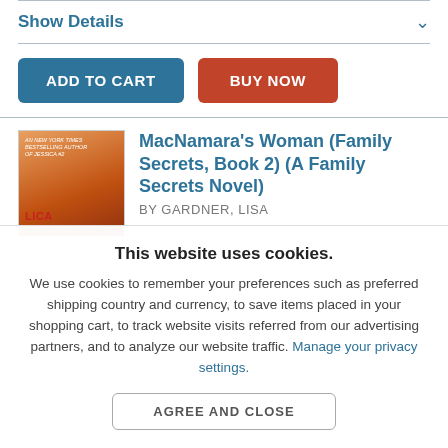Show Details
ADD TO CART
BUY NOW
[Figure (illustration): Book cover for MacNamara's Woman showing a woman with long hair against an orange/sunset background with text LICA]
MacNamara's Woman (Family Secrets, Book 2) (A Family Secrets Novel)
BY GARDNER, LISA
This website uses cookies.
We use cookies to remember your preferences such as preferred shipping country and currency, to save items placed in your shopping cart, to track website visits referred from our advertising partners, and to analyze our website traffic. Manage your privacy settings.
AGREE AND CLOSE